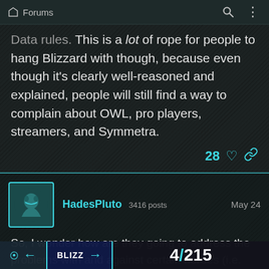Forums
Data rules. This is a lot of rope for people to hang Blizzard with though, because even though it's clearly well-reasoned and explained, people will still find a way to complain about OWL, pro players, streamers, and Symmetra.
28 ♡ 🔗
HadesPluto 3416 posts  May 24
So, I wonder how are they going to address the problems with and against certain heroes (i.e. Reaper, Junkrat, Symmetra, Mei, etc.)?
Or, for clarity, how
4 / 215